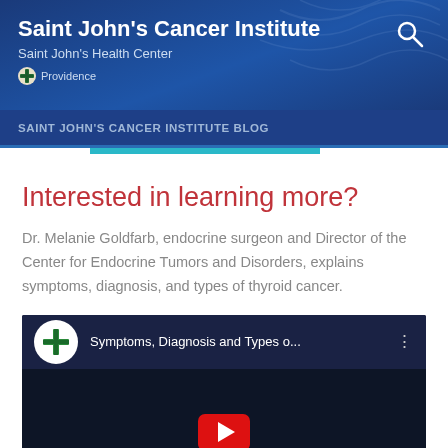Saint John's Cancer Institute
Saint John's Health Center
Providence
SAINT JOHN'S CANCER INSTITUTE BLOG
Interested in learning more?
Dr. Melanie Goldfarb, endocrine surgeon and Director of the Center for Endocrine Tumors and Disorders, explains symptoms, diagnosis, and types of thyroid cancer.
[Figure (screenshot): YouTube video embed showing 'Symptoms, Diagnosis and Types o...' with Providence cross logo icon, dark blue background, and partially visible red YouTube play button at the bottom.]